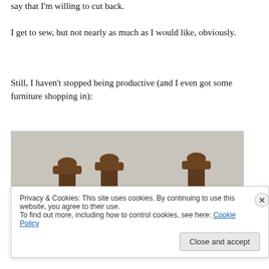say that I'm willing to cut back.
I get to sew, but not nearly as much as I would like, obviously.
Still, I haven't stopped being productive (and I even got some furniture shopping in):
[Figure (photo): A dining table with a patterned tablecloth and dark wooden chairs around it. A black and white cat is lying on the table surface.]
Privacy & Cookies: This site uses cookies. By continuing to use this website, you agree to their use.
To find out more, including how to control cookies, see here: Cookie Policy